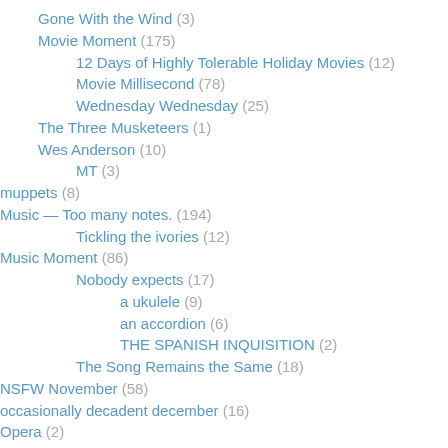Gone With the Wind (3)
Movie Moment (175)
12 Days of Highly Tolerable Holiday Movies (12)
Movie Millisecond (78)
Wednesday Wednesday (25)
The Three Musketeers (1)
Wes Anderson (10)
MT (3)
muppets (8)
Music — Too many notes. (194)
Tickling the ivories (12)
Music Moment (86)
Nobody expects (17)
a ukulele (9)
an accordion (6)
THE SPANISH INQUISITION (2)
The Song Remains the Same (18)
NSFW November (58)
occasionally decadent december (16)
Opera (2)